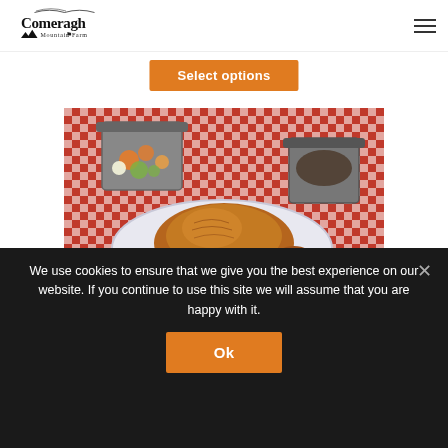Comeragh Mountain Farm — navigation logo and hamburger menu
Select options
[Figure (photo): A roasted whole bird (chicken or turkey) on a decorative plate with blue floral pattern, surrounded by pots of vegetables and gravy on a red-and-white checkered tablecloth.]
We use cookies to ensure that we give you the best experience on our website. If you continue to use this site we will assume that you are happy with it.
Ok